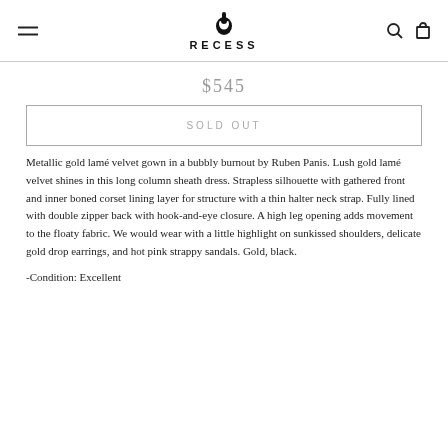RECESS
$545
SOLD OUT
Metallic gold lamé velvet gown in a bubbly burnout by Ruben Panis. Lush gold lamé velvet shines in this long column sheath dress. Strapless silhouette with gathered front and inner boned corset lining layer for structure with a thin halter neck strap. Fully lined with double zipper back with hook-and-eye closure. A high leg opening adds movement to the floaty fabric. We would wear with a little highlight on sunkissed shoulders, delicate gold drop earrings, and hot pink strappy sandals. Gold, black.
-Condition: Excellent